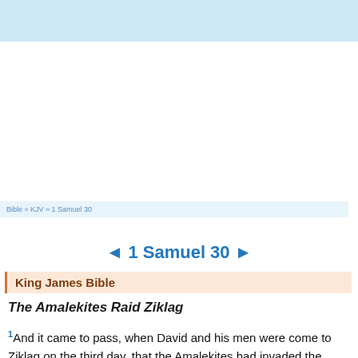Bible » KJV » 1 Samuel 30
◄ 1 Samuel 30 ►
King James Bible
The Amalekites Raid Ziklag
1 And it came to pass, when David and his men were come to Ziklag on the third day, that the Amalekites had invaded the south, and Ziklag, and